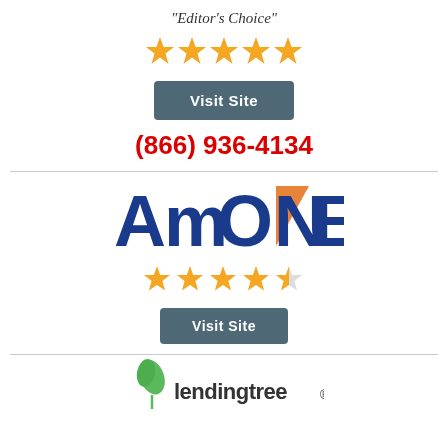"Editor's Choice"
[Figure (other): 5 gold stars rating]
[Figure (other): Visit Site button (dark teal/slate background, white text)]
(866) 936-4134
[Figure (logo): AmONE logo - Am in blue, ONE in blue with orange triangle accent]
[Figure (other): 4.5 gold stars rating]
[Figure (other): Visit Site button (dark teal/slate background, white text)]
[Figure (logo): LendingTree logo - partial, green leaf icon and text lendingtree visible]